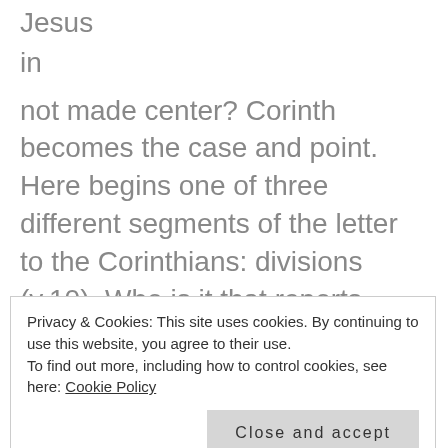Jesus
in
not made center? Corinth becomes the case and point. Here begins one of three different segments of the letter to the Corinthians: divisions (v.10). Who is it that reports division to Paul? (v.11) Chloe’s house. What’s the reason for division? (v.12) Certain leaders had “groupies”. Christian celebrity worship is not just a 21st Century
Privacy & Cookies: This site uses cookies. By continuing to use this website, you agree to their use.
To find out more, including how to control cookies, see here: Cookie Policy
rock, Peter), or Jesus (the One and Only). It’s